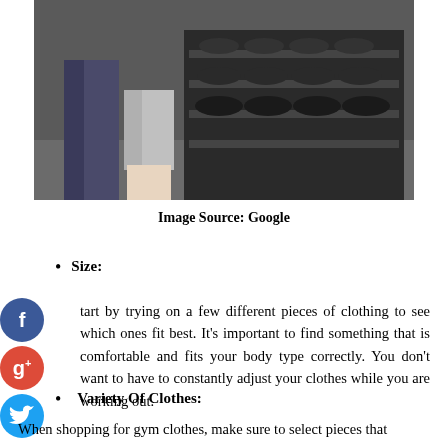[Figure (photo): Two people standing in front of a dumbbell rack in a gym, showing their lower bodies and workout clothing.]
Image Source: Google
Size:
Start by trying on a few different pieces of clothing to see which ones fit best. It’s important to find something that is comfortable and fits your body type correctly. You don’t want to have to constantly adjust your clothes while you are working out.
Variety Of Clothes:
When shopping for gym clothes, make sure to select pieces that